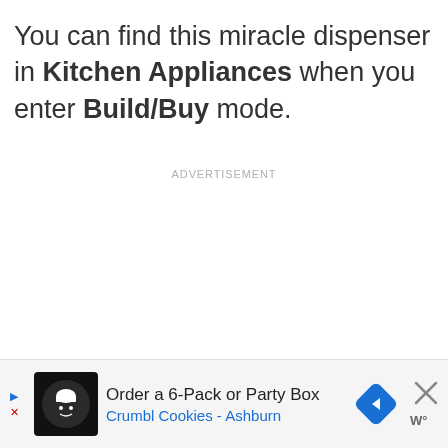You can find this miracle dispenser in Kitchen Appliances when you enter Build/Buy mode.
ADVERTISEMENT
[Figure (other): Advertisement banner for Crumbl Cookies - Ashburn showing 'Order a 6-Pack or Party Box' with cookie logo icon, blue navigation arrow diamond icon, close X button, and weather widget icon]